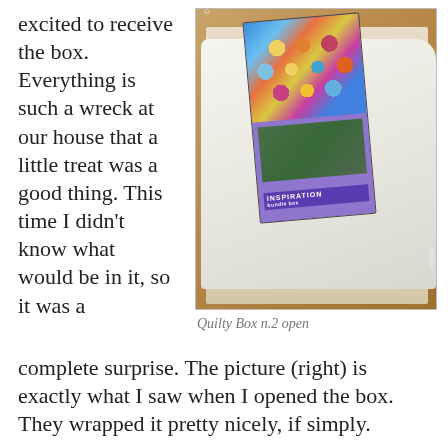excited to receive the box. Everything is such a wreck at our house that a little treat was a good thing. This time I didn't know what would be in it, so it was a complete surprise. The picture (right) is exactly what I saw when I opened the box. They wrapped it pretty nicely, if simply.
[Figure (photo): An open cardboard box viewed from above, containing white fabric/batting and a quilt pattern magazine or booklet with a colorful circular dot pattern quilt on the cover, labeled INSPIRATION]
Quilty Box n.2 open